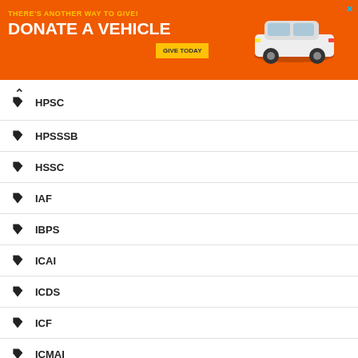[Figure (infographic): Orange advertisement banner: THERE'S ANOTHER WAY TO GIVE! DONATE A VEHICLE - GIVE TODAY button, with car illustration]
HPSC
HPSSSB
HSSC
IAF
IBPS
ICAI
ICDS
ICF
ICMAI
ICWA
IDBI